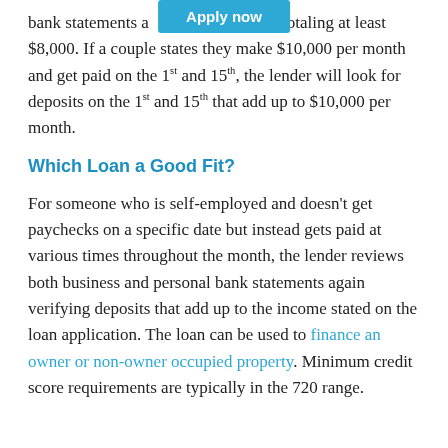bank statements and deposits totaling at least $8,000. If a couple states they make $10,000 per month and get paid on the 1st and 15th, the lender will look for deposits on the 1st and 15th that add up to $10,000 per month.
Which Loan a Good Fit?
For someone who is self-employed and doesn't get paychecks on a specific date but instead gets paid at various times throughout the month, the lender reviews both business and personal bank statements again verifying deposits that add up to the income stated on the loan application. The loan can be used to finance an owner or non-owner occupied property. Minimum credit score requirements are typically in the 720 range.